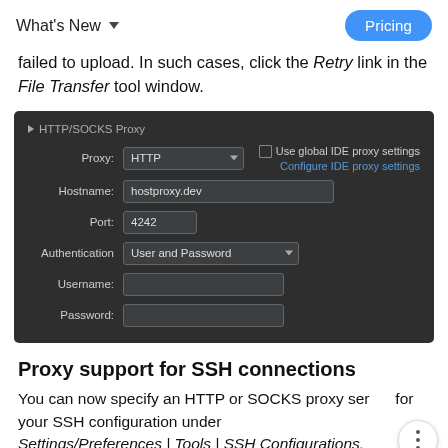What's New   Pricing
failed to upload. In such cases, click the Retry link in the File Transfer tool window.
[Figure (screenshot): HTTP/SOCKS Proxy settings panel in a dark IDE theme, showing fields: Proxy (HTTP dropdown), Use global IDE proxy settings checkbox, Configure IDE proxy settings link, Hostname (hostproxy.dev), Port (4242), Authentication (User and Password dropdown), Username (empty), Password (empty).]
Proxy support for SSH connections
You can now specify an HTTP or SOCKS proxy server for your SSH configuration under Settings/Preferences | Tools | SSH Configurations.